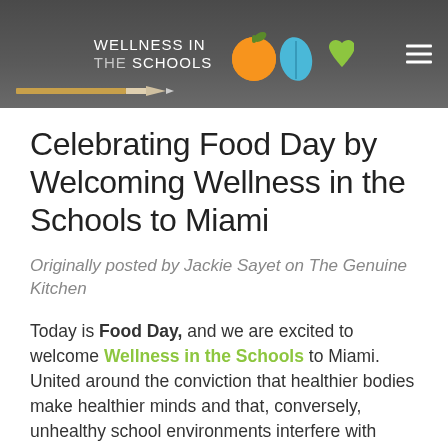[Figure (logo): Wellness in the Schools logo with orange apple, blue leaf, and green heart icons on dark grey chalkboard background, with pencil illustration and hamburger menu icon]
Celebrating Food Day by Welcoming Wellness in the Schools to Miami
Originally posted by Jackie Sayet on The Genuine Kitchen
Today is Food Day, and we are excited to welcome Wellness in the Schools to Miami. United around the conviction that healthier bodies make healthier minds and that, conversely, unhealthy school environments interfere with student health, school attendance and academic achievement, Executive Director and Co-Founder Nancy Easton is armed with a strong troop of supporters, many of them chefs. For good...